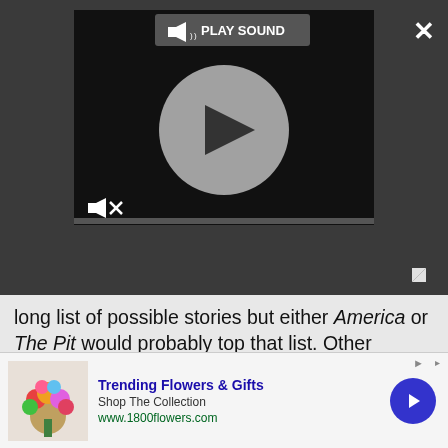[Figure (screenshot): Video player UI with play sound label, circular play button, mute icon, progress bar, close button, and expand button on dark background]
long list of possible stories but either America or The Pit would probably top that list. Other recommendations would be The Ballad of Halo Jones by Alan Moore and Ian Gibson for a fantastic all round story, Bad Company by Peter Milligan, Brett Ewins and Jim McCarthy for a slice of future war, Skizz by Alan Moore and Jim Baikie for a British take on ET. For comedy I'd recommend DR & Quinch by Alan Moore and Alan Davis, for a British take on superheroes. I'd recommend Zenith by Grant Morrison and Steve
[Figure (infographic): Advertisement banner for 1800flowers.com: Trending Flowers & Gifts, Shop The Collection, www.1800flowers.com, with flower bouquet image and blue circular arrow button]